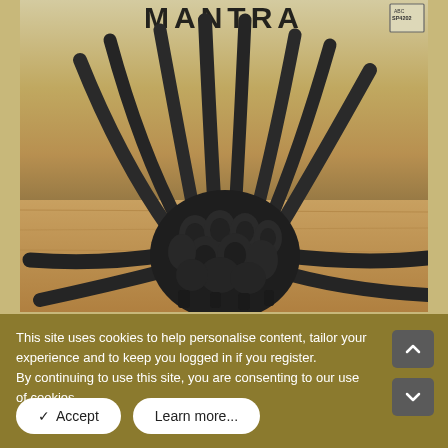[Figure (photo): Album cover photo showing a cluster of black electrical cables and connectors arranged to look like a spider, sitting on a wooden surface. The album title text is partially visible at the top. A label reading SP4202 is visible in the top right corner.]
This site uses cookies to help personalise content, tailor your experience and to keep you logged in if you register.
By continuing to use this site, you are consenting to our use of cookies.
✓ Accept
Learn more...